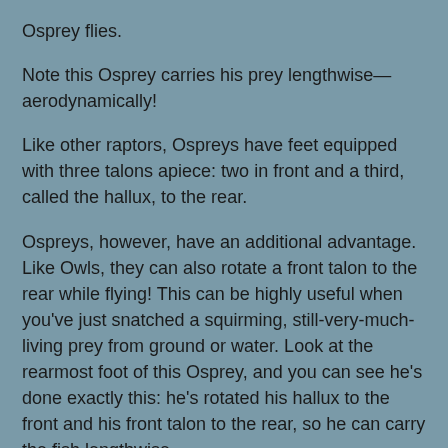Osprey flies.
Note this Osprey carries his prey lengthwise—aerodynamically!
Like other raptors, Ospreys have feet equipped with three talons apiece: two in front and a third, called the hallux, to the rear.
Ospreys, however, have an additional advantage. Like Owls, they can also rotate a front talon to the rear while flying! This can be highly useful when you've just snatched a squirming, still-very-much-living prey from ground or water. Look at the rearmost foot of this Osprey, and you can see he's done exactly this: he's rotated his hallux to the front and his front talon to the rear, so he can carry the fish lengthwise.